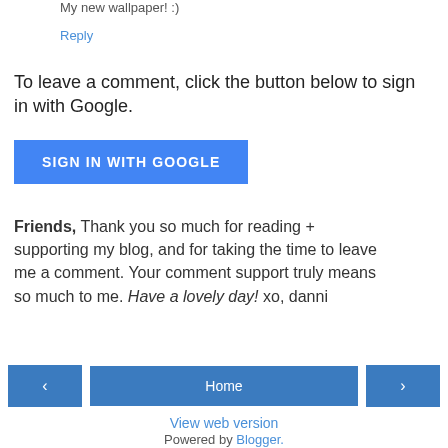My new wallpaper! :)
Reply
To leave a comment, click the button below to sign in with Google.
[Figure (other): Blue 'SIGN IN WITH GOOGLE' button]
Friends, Thank you so much for reading + supporting my blog, and for taking the time to leave me a comment. Your comment support truly means so much to me. Have a lovely day! xo, danni
[Figure (other): Navigation bar with left arrow button, Home button, and right arrow button]
View web version
Powered by Blogger.